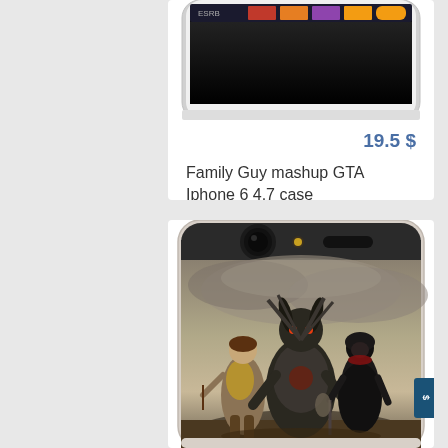[Figure (photo): Top portion of a phone case with Family Guy mashup GTA design, showing partial phone case with dark screen area and colorful images at top]
19.5 $
Family Guy mashup GTA Iphone 6 4.7 case
[Figure (photo): White phone case featuring Elder Scrolls / fantasy video game artwork showing three armored warrior characters against a dramatic cloudy sky background]